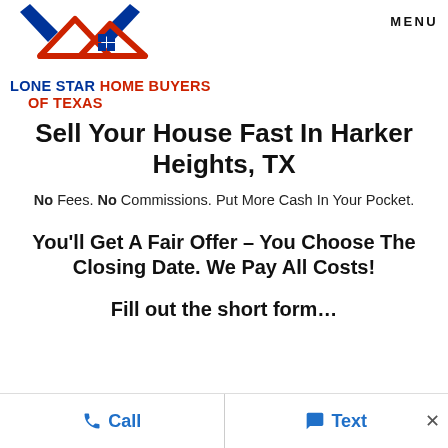[Figure (logo): Lone Star Home Buyers of Texas logo with red house/roof icon and blue star/chevron design]
MENU
Sell Your House Fast In Harker Heights, TX
No Fees. No Commissions. Put More Cash In Your Pocket.
You'll Get A Fair Offer – You Choose The Closing Date. We Pay All Costs!
Fill out the short form…
Call   Text   ×